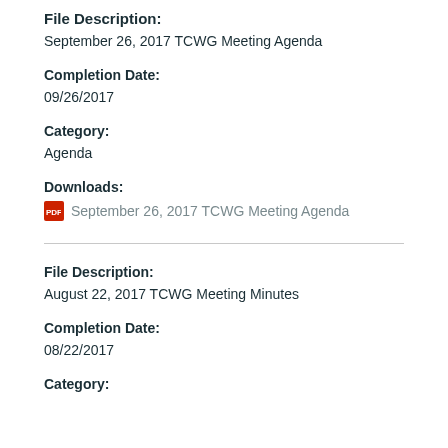File Description:
September 26, 2017 TCWG Meeting Agenda
Completion Date:
09/26/2017
Category:
Agenda
Downloads:
September 26, 2017 TCWG Meeting Agenda
File Description:
August 22, 2017 TCWG Meeting Minutes
Completion Date:
08/22/2017
Category: